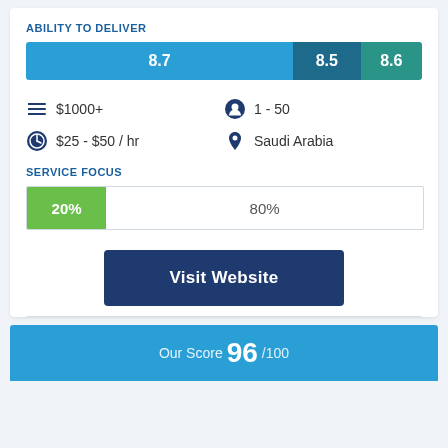ABILITY TO DELIVER
[Figure (stacked-bar-chart): Ability to Deliver scores]
$1000+
1 - 50
$25 - $50 / hr
Saudi Arabia
SERVICE FOCUS
[Figure (stacked-bar-chart): Service Focus]
Visit Website
Our Score 96 /100